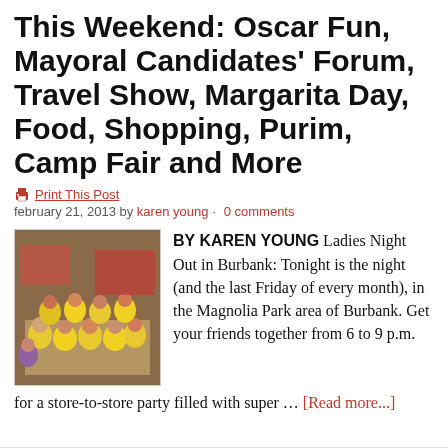This Weekend: Oscar Fun, Mayoral Candidates' Forum, Travel Show, Margarita Day, Food, Shopping, Purim, Camp Fair and More
🖨 Print This Post
february 21, 2013 by karen young · 0 comments
[Figure (photo): Children in yellow shirts sitting on the floor at an event]
BY KAREN YOUNG  Ladies Night Out in Burbank: Tonight is the night  (and the last Friday of every month), in the Magnolia Park area of Burbank. Get your friends together from 6 to 9 p.m. for a store-to-store party filled with super … [Read more...]